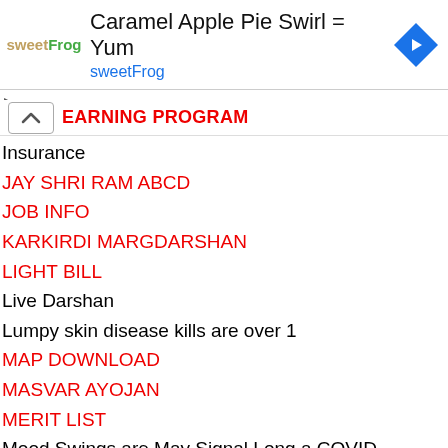[Figure (screenshot): SweetFrog advertisement banner with logo, title 'Caramel Apple Pie Swirl = Yum', subtitle 'sweetFrog', and navigation icon]
EARNING PROGRAM
Insurance
JAY SHRI RAM ABCD
JOB INFO
KARKIRDI MARGDARSHAN
LIGHT BILL
Live Darshan
Lumpy skin disease kills are over 1
MAP DOWNLOAD
MASVAR AYOJAN
MERIT LIST
Mood Swings are May Signal Long a COVID Syndrome
movies
NEWS REPORT